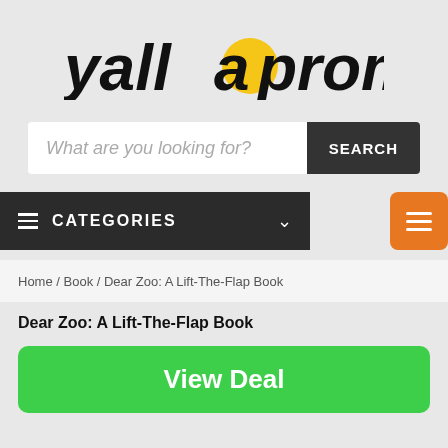[Figure (logo): yallapromos logo in bold italic black text with a yellow circle accent between 'yalla' and 'promos']
What are you looking for?
SEARCH
≡  CATEGORIES  ∨
Home / Book / Dear Zoo: A Lift-The-Flap Book
Dear Zoo: A Lift-The-Flap Book
View Deal